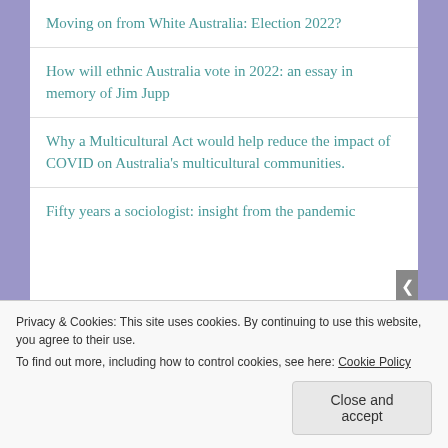Moving on from White Australia: Election 2022?
How will ethnic Australia vote in 2022: an essay in memory of Jim Jupp
Why a Multicultural Act would help reduce the impact of COVID on Australia's multicultural communities.
Fifty years a sociologist: insight from the pandemic
Privacy & Cookies: This site uses cookies. By continuing to use this website, you agree to their use.
To find out more, including how to control cookies, see here: Cookie Policy
Close and accept